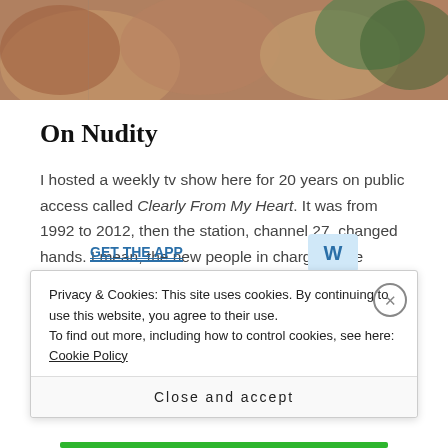[Figure (photo): Cropped photograph showing hands and partial figures, possibly people crafting or doing an activity; warm earthy tones with some green in the background.]
On Nudity
I hosted a weekly tv show here for 20 years on public access called Clearly From My Heart. It was from 1992 to 2012, then the station, channel 27, changed hands. I mean, the new people in charge of the station do not want controversial programs.
[Figure (other): Partially visible advertisement banner with blue text 'GET THE APP' and WordPress logo]
Privacy & Cookies: This site uses cookies. By continuing to use this website, you agree to their use.
To find out more, including how to control cookies, see here: Cookie Policy
Close and accept